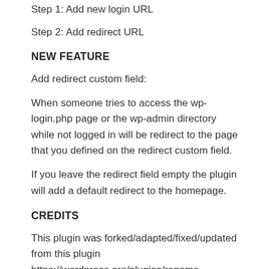Step 1: Add new login URL
Step 2: Add redirect URL
NEW FEATURE
Add redirect custom field:
When someone tries to access the wp-login.php page or the wp-admin directory while not logged in will be redirect to the page that you defined on the redirect custom field.
If you leave the redirect field empty the plugin will add a default redirect to the homepage.
CREDITS
This plugin was forked/adapted/fixed/updated from this plugin https://wordpress.org/plugins/rename-